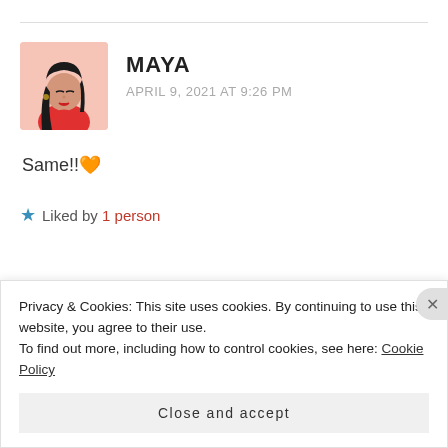[Figure (illustration): Avatar illustration of a woman in a red top with long black hair, pink background]
MAYA
APRIL 9, 2021 AT 9:26 PM
Same!! 🧡
★ Liked by 1 person
[Figure (screenshot): Blue ad banner for a journaling app with text 'The only journaling app you'll ever need.' and a 'Get the app' button]
Privacy & Cookies: This site uses cookies. By continuing to use this website, you agree to their use.
To find out more, including how to control cookies, see here: Cookie Policy
Close and accept